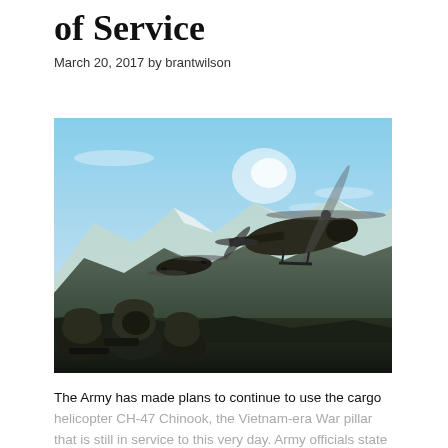of Service
March 20, 2017 by brantwilson
[Figure (photo): Two CH-47 Chinook cargo helicopters flying over mountainous snow-dusted terrain, with several soldiers in combat gear in the foreground watching from a ridgeline.]
The Army has made plans to continue to use the cargo helicopter CH-47 Chinook, the Vietnam-era War pillar that is still in service to this very day. Army officials state